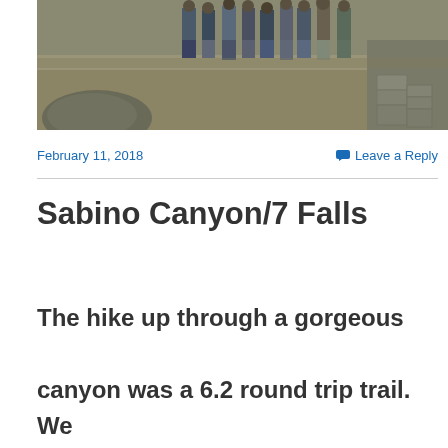[Figure (photo): Group of people standing on rocky/gravelly terrain outdoors, partial view showing legs and lower bodies, with rocks and dirt visible]
February 11, 2018
Leave a Reply
Sabino Canyon/7 Falls
The hike up through a gorgeous canyon was a 6.2 round trip trail. We